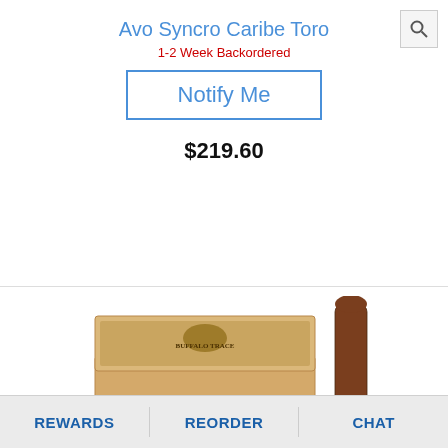Avo Syncro Caribe Toro
1-2 Week Backordered
Notify Me
$219.60
[Figure (photo): Box of Buffalo Trace branded cigars open showing rows of cigars with green tips, alongside a single standing cigar with Buffalo Trace label, watermark of cigar store logo visible]
REWARDS   REORDER   CHAT